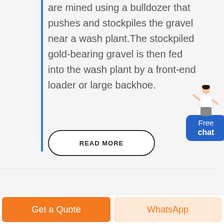are mined using a bulldozer that pushes and stockpiles the gravel near a wash plant. The stockpiled gold-bearing gravel is then fed into the wash plant by a front-end loader or large backhoe.
READ MORE
[Figure (illustration): Chat widget with person figure and blue 'Free chat' button]
Get a Quote
WhatsApp